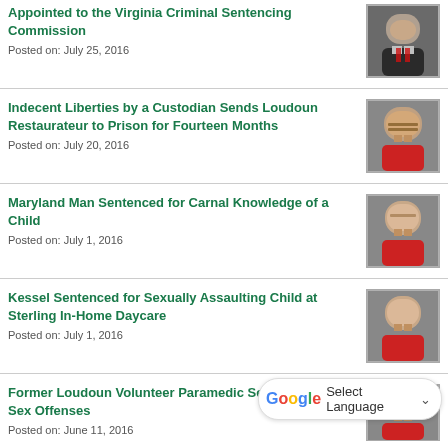Appointed to the Virginia Criminal Sentencing Commission
Posted on: July 25, 2016
Indecent Liberties by a Custodian Sends Loudoun Restaurateur to Prison for Fourteen Months
Posted on: July 20, 2016
Maryland Man Sentenced for Carnal Knowledge of a Child
Posted on: July 1, 2016
Kessel Sentenced for Sexually Assaulting Child at Sterling In-Home Daycare
Posted on: July 1, 2016
Former Loudoun Volunteer Paramedic Sentenced for Sex Offenses
Posted on: June 11, 2016